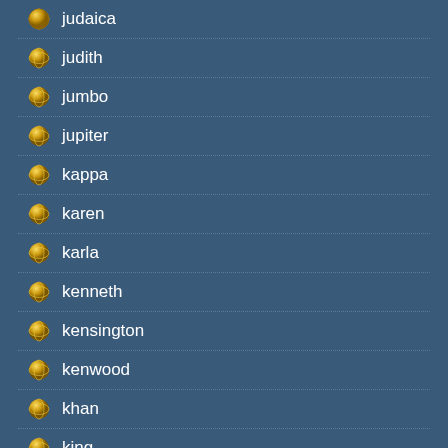judaica
judith
jumbo
jupiter
kappa
karen
karla
kenneth
kensington
kenwood
khan
king
kings
kitchen
knew